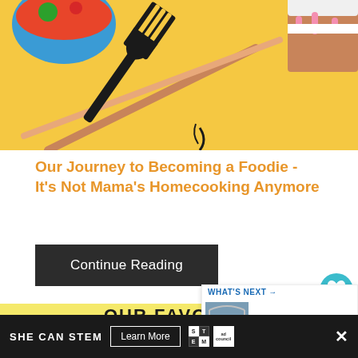[Figure (illustration): Yellow background food illustration showing a fork, chopsticks, a bowl of noodles/pasta and a slice of cake]
Our Journey to Becoming a Foodie - It's Not Mama's Homecooking Anymore
Continue Reading
[Figure (illustration): Yellow background with large bold text 'Our Favorite Five Places to Visit in France' with French flag emoji and a map showing London, Brussels, Germany, and surrounding areas]
[Figure (screenshot): What's Next panel showing thumbnail image with text 'Top Ten Things to do...']
[Figure (infographic): SHE CAN STEM advertisement banner with Learn More button, STEM logo and Ad Council logo]